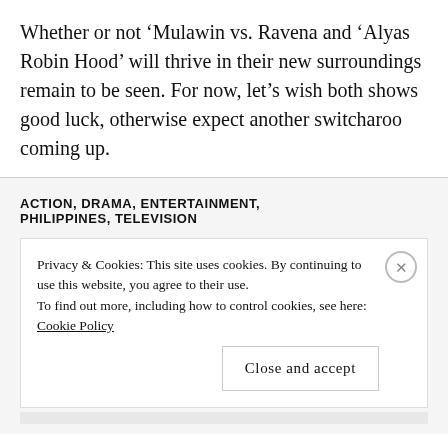Whether or not ‘Mulawin vs. Ravena and ‘Alyas Robin Hood’ will thrive in their new surroundings remain to be seen. For now, let’s wish both shows good luck, otherwise expect another switcharoo coming up.
ACTION, DRAMA, ENTERTAINMENT, PHILIPPINES, TELEVISION
Privacy & Cookies: This site uses cookies. By continuing to use this website, you agree to their use. To find out more, including how to control cookies, see here: Cookie Policy
Close and accept